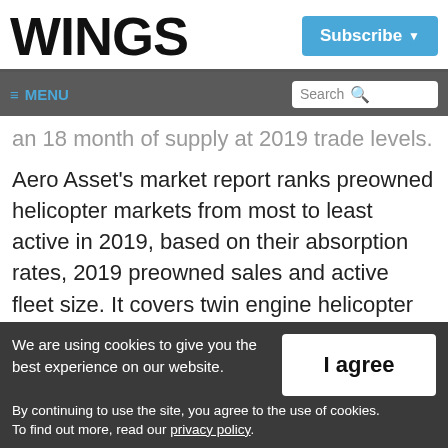WINGS | Subscribe
≡ MENU | Search
an 18 month of supply at 2019 trade levels.
Aero Asset's market report ranks preowned helicopter markets from most to least active in 2019, based on their absorption rates, 2019 preowned sales and active fleet size. It covers twin engine helicopter models still in
We are using cookies to give you the best experience on our website.
By continuing to use the site, you agree to the use of cookies.
To find out more, read our privacy policy.